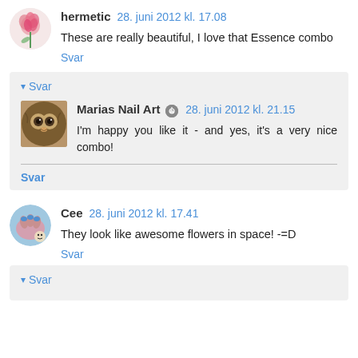hermetic 28. juni 2012 kl. 17.08
These are really beautiful, I love that Essence combo
Svar
Svar
Marias Nail Art 28. juni 2012 kl. 21.15
I'm happy you like it - and yes, it's a very nice combo!
Svar
Cee 28. juni 2012 kl. 17.41
They look like awesome flowers in space! -=D
Svar
Svar